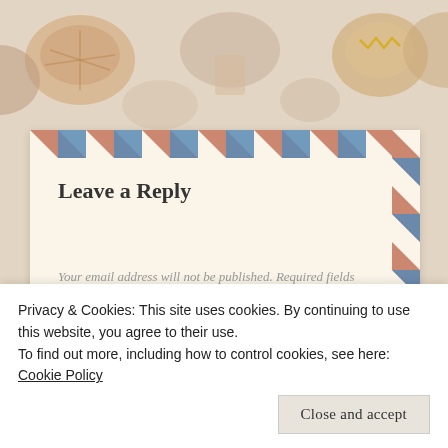[Figure (illustration): Decorative background with illustrated mushrooms and shells in warm tones on a beige background with airmail-style stripe border on a card]
Leave a Reply
Your email address will not be published. Required fields are marked *
Comment *
Privacy & Cookies: This site uses cookies. By continuing to use this website, you agree to their use.
To find out more, including how to control cookies, see here: Cookie Policy
Close and accept